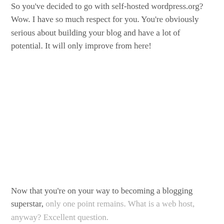So you've decided to go with self-hosted wordpress.org? Wow. I have so much respect for you. You're obviously serious about building your blog and have a lot of potential. It will only improve from here!
Now that you're on your way to becoming a blogging superstar, only one point remains. What is a web host, anyway? Excellent question.